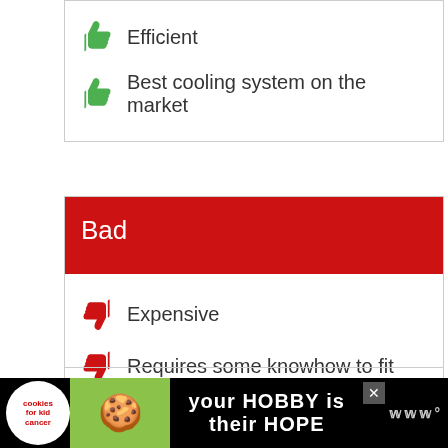Efficient
Best cooling system on the market
Bad
Expensive
Requires some knowhow to fit
[Figure (illustration): Advertisement banner: 'your HOBBY is their HOPE' with cookies for kid cancer logo and heart-shaped cookie image]